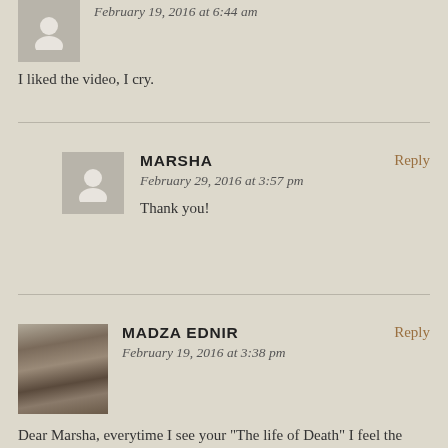February 19, 2016 at 6:44 am
I liked the video, I cry.
MARSHA
Reply
February 29, 2016 at 3:57 pm
Thank you!
MADZA EDNIR
Reply
February 19, 2016 at 3:38 pm
Dear Marsha, everytime I see your "The life of Death" I feel the impact of the beauty and poetry of it . Your images make me reconcile with my mortality , and understand deep inside that if I befriend Death she will never hurt me, but instead will hold me in a sweet embrace. I wish this animation can be shown at medical